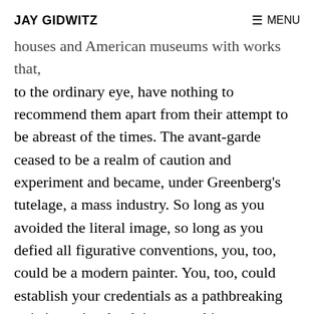JAY GIDWITZ    ≡ MENU
houses and American museums with works that, to the ordinary eye, have nothing to recommend them apart from their attempt to be abreast of the times. The avant-garde ceased to be a realm of caution and experiment and became, under Greenberg's tutelage, a mass industry. So long as you avoided the literal image, so long as you defied all figurative conventions, you, too, could be a modern painter. You, too, could establish your credentials as a pathbreaking artistic genius, by doing something—no matter what, so long as it after a certain age